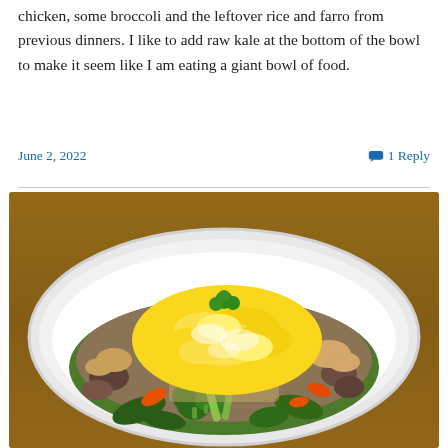chicken, some broccoli and the leftover rice and farro from previous dinners. I like to add raw kale at the bottom of the bowl to make it seem like I am eating a giant bowl of food.
June 2, 2022
1 Reply
[Figure (photo): A white bowl filled with a grain bowl containing scrambled eggs on top, surrounded by broccoli, carrots, kale, mushrooms, celery, chicken, rice and farro, garnished with parsley, placed on a wooden table.]